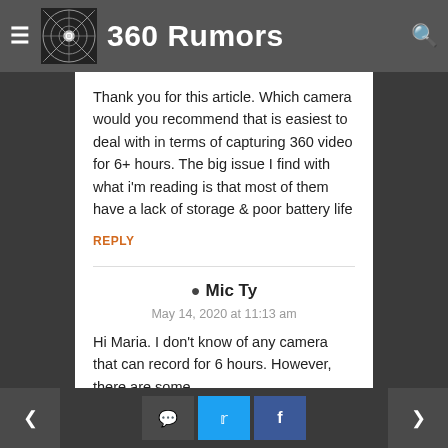360 Rumors
Thank you for this article. Which camera would you recommend that is easiest to deal with in terms of capturing 360 video for 6+ hours. The big issue I find with what i'm reading is that most of them have a lack of storage & poor battery life
REPLY
Mic Ty
May 14, 2020 at 11:13 am
Hi Maria. I don't know of any camera that can record for 6 hours. However, there are some
< [comment icon] [twitter icon] [facebook icon] >